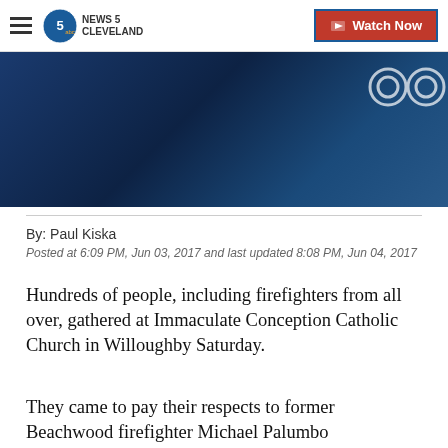NEWS 5 CLEVELAND | Watch Now
[Figure (photo): Dark blue-toned photo, likely of a firefighter or memorial scene, with ABC network logo watermark in upper right corner]
By: Paul Kiska
Posted at 6:09 PM, Jun 03, 2017 and last updated 8:08 PM, Jun 04, 2017
Hundreds of people, including firefighters from all over, gathered at Immaculate Conception Catholic Church in Willoughby Saturday.
They came to pay their respects to former Beachwood firefighter Michael Palumbo